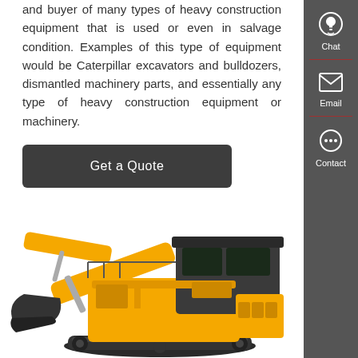and buyer of many types of heavy construction equipment that is used or even in salvage condition. Examples of this type of equipment would be Caterpillar excavators and bulldozers, dismantled machinery parts, and essentially any type of heavy construction equipment or machinery.
Get a Quote
[Figure (photo): Large yellow construction excavator/mining shovel machine photographed at an angle showing the cab, boom, and undercarriage.]